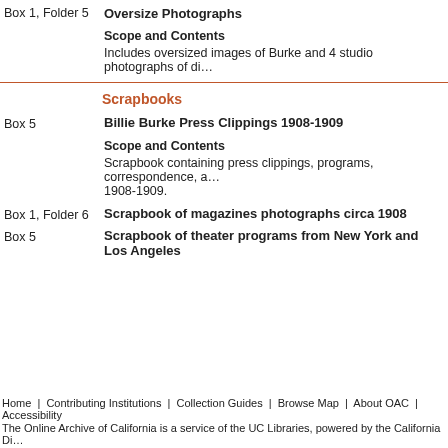Box 1, Folder 5 — Oversize Photographs
Scope and Contents
Includes oversized images of Burke and 4 studio photographs of di...
Scrapbooks
Box 5 — Billie Burke Press Clippings 1908-1909
Scope and Contents
Scrapbook containing press clippings, programs, correspondence, a... 1908-1909.
Box 1, Folder 6 — Scrapbook of magazines photographs circa 1908
Box 5 — Scrapbook of theater programs from New York and Los Angeles
Home | Contributing Institutions | Collection Guides | Browse Map | About OAC | ... Accessibility
The Online Archive of California is a service of the UC Libraries, powered by the California Di...